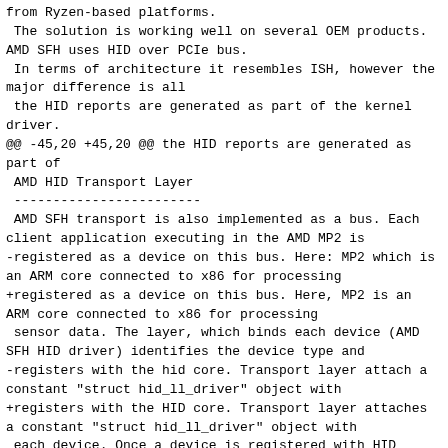from Ryzen-based platforms.
 The solution is working well on several OEM products. AMD SFH uses HID over PCIe bus.
 In terms of architecture it resembles ISH, however the major difference is all
 the HID reports are generated as part of the kernel driver.
@@ -45,20 +45,20 @@ the HID reports are generated as part of
 AMD HID Transport Layer
 ------------------------
 AMD SFH transport is also implemented as a bus. Each client application executing in the AMD MP2 is
-registered as a device on this bus. Here: MP2 which is an ARM core connected to x86 for processing
+registered as a device on this bus. Here, MP2 is an ARM core connected to x86 for processing
 sensor data. The layer, which binds each device (AMD SFH HID driver) identifies the device type and
-registers with the hid core. Transport layer attach a constant "struct hid_ll_driver" object with
+registers with the HID core. Transport layer attaches a constant "struct hid_ll_driver" object with
 each device. Once a device is registered with HID core, the callbacks provided via this struct are
 used by HID core to communicate with the device. AMD HID Transport layer implements the synchronous calls.

 AMD HID Client Layer
 ~~~~~~~~~~~~~~~~~~~~
AMD HID Client Layer
~~~~~~~~~~~~~~~~~~~~